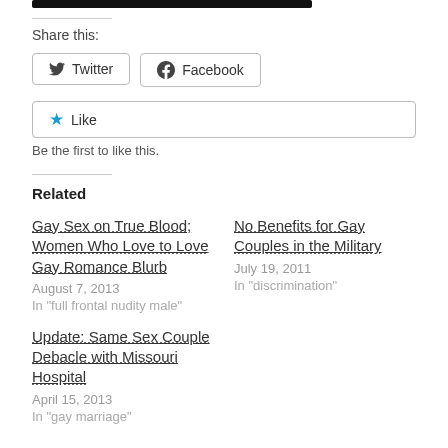[Figure (screenshot): Black bar/image at top of page]
Share this:
[Figure (screenshot): Twitter button with bird icon]
[Figure (screenshot): Facebook button with f icon]
[Figure (screenshot): Like button with star icon]
Be the first to like this.
Related
Gay Sex on True Blood; Women Who Love to Love Gay Romance Blurb
August 7, 2013
In "full frontal nudity male"
No Benefits for Gay Couples in the Military
July 19, 2011
In "discrimination"
Update: Same Sex Couple Debacle with Missouri Hospital
April 15, 2013
In "gay marriage"